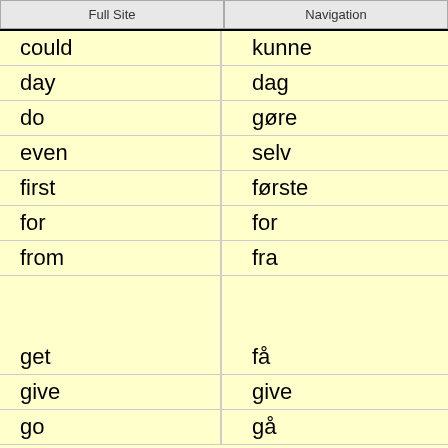Full Site | Navigation
| English | Danish |
| --- | --- |
| could | kunne |
| day | dag |
| do | gøre |
| even | selv |
| first | første |
| for | for |
| from | fra |
| get | få |
| give | give |
| go | gå |